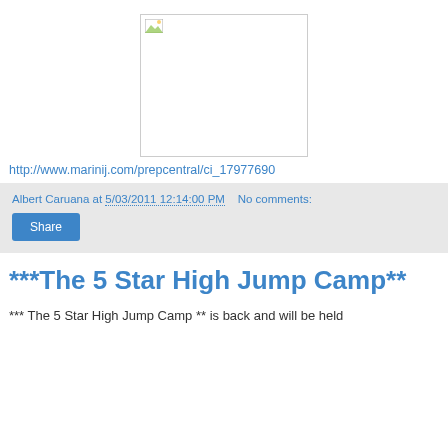[Figure (photo): Broken image placeholder with small image icon in top-left corner, white background with light border]
http://www.marinij.com/prepcentral/ci_17977690
Albert Caruana at 5/03/2011 12:14:00 PM   No comments:
Share
***The 5 Star High Jump Camp**
*** The 5 Star High Jump Camp ** is back and will be held